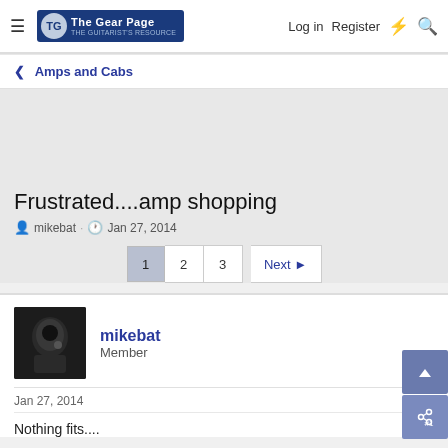The Gear Page — Log in  Register
< Amps and Cabs
Frustrated....amp shopping
mikebat · Jan 27, 2014
1  2  3  Next ▶
mikebat
Member
Jan 27, 2014  #1
Nothing fits....